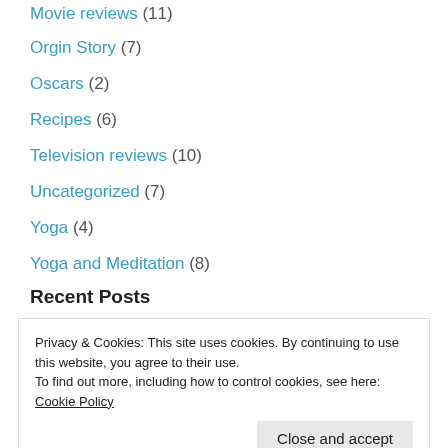Movie reviews (11)
Orgin Story (7)
Oscars (2)
Recipes (6)
Television reviews (10)
Uncategorized (7)
Yoga (4)
Yoga and Meditation (8)
Recent Posts
Privacy & Cookies: This site uses cookies. By continuing to use this website, you agree to their use.
To find out more, including how to control cookies, see here: Cookie Policy